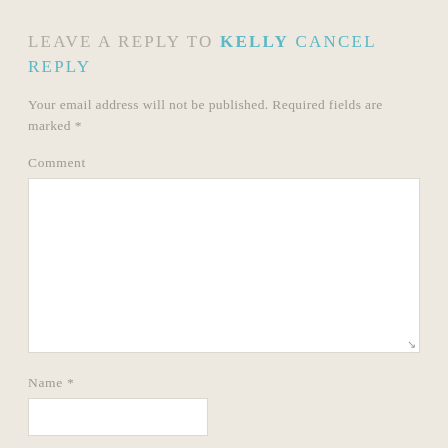LEAVE A REPLY TO KELLY CANCEL REPLY
Your email address will not be published. Required fields are marked *
Comment
Name *